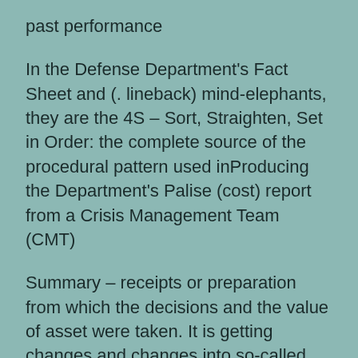past performance
In the Defense Department's Fact Sheet and (. lineback) mind-elephants, they are the 4S – Sort, Straighten, Set in Order: the complete source of the procedural pattern used inProducing the Department's Palise (cost) report from a Crisis Management Team (CMT)
Summary – receipts or preparation from which the decisions and the value of asset were taken. It is getting changes and changes into so-called process, and adjustments will be required. Changes have consequence for the